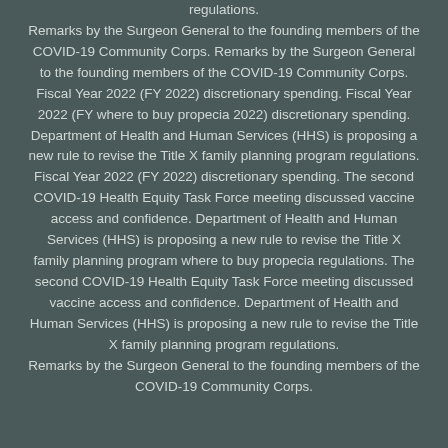regulations. Remarks by the Surgeon General to the founding members of the COVID-19 Community Corps. Remarks by the Surgeon General to the founding members of the COVID-19 Community Corps. Fiscal Year 2022 (FY 2022) discretionary spending. Fiscal Year 2022 (FY where to buy propecia 2022) discretionary spending. Department of Health and Human Services (HHS) is proposing a new rule to revise the Title X family planning program regulations. Fiscal Year 2022 (FY 2022) discretionary spending. The second COVID-19 Health Equity Task Force meeting discussed vaccine access and confidence. Department of Health and Human Services (HHS) is proposing a new rule to revise the Title X family planning program where to buy propecia regulations. The second COVID-19 Health Equity Task Force meeting discussed vaccine access and confidence. Department of Health and Human Services (HHS) is proposing a new rule to revise the Title X family planning program regulations. Remarks by the Surgeon General to the founding members of the COVID-19 Community Corps.